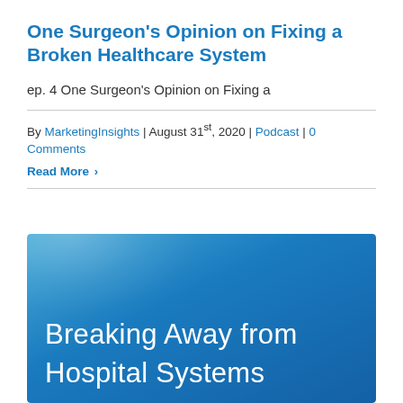One Surgeon’s Opinion on Fixing a Broken Healthcare System
ep. 4 One Surgeon’s Opinion on Fixing a
By MarketingInsights | August 31st, 2020 | Podcast | 0 Comments
Read More ›
[Figure (illustration): Blue gradient card with white text reading 'Breaking Away from Hospital Systems']